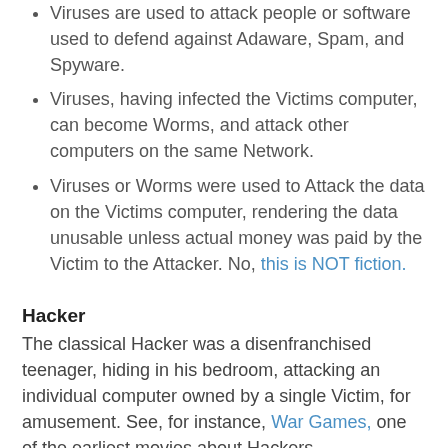Viruses are used to attack people or software used to defend against Adaware, Spam, and Spyware.
Viruses, having infected the Victims computer, can become Worms, and attack other computers on the same Network.
Viruses or Worms were used to Attack the data on the Victims computer, rendering the data unusable unless actual money was paid by the Victim to the Attacker. No, this is NOT fiction.
Hacker
The classical Hacker was a disenfranchised teenager, hiding in his bedroom, attacking an individual computer owned by a single Victim, for amusement. See, for instance, War Games, one of the earliest movies about Hackers.
Today, Hackers use programs that they may release as Trojans, as Viruses, or as Worms. The Hack, which when installed on the Victims computer, may make that computer